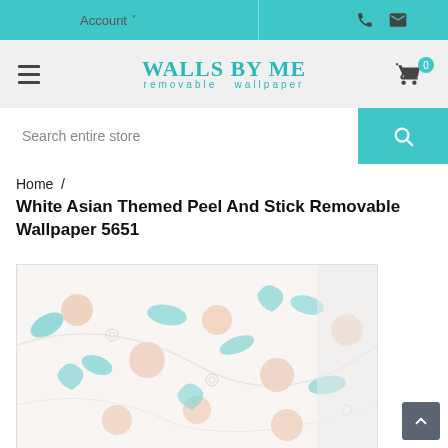Account | [phone icon] [mail icon]
[Figure (logo): Walls By Me removable wallpaper logo in teal, with hamburger menu icon on left and shopping cart with badge '0' on right]
Search entire store
Home / White Asian Themed Peel And Stick Removable Wallpaper 5651
White Asian Themed Peel And Stick Removable Wallpaper 5651
[Figure (photo): White Asian themed peel and stick removable wallpaper with teal and peach floral/paisley botanical pattern on white background, shown rolled out and displayed on a wall]